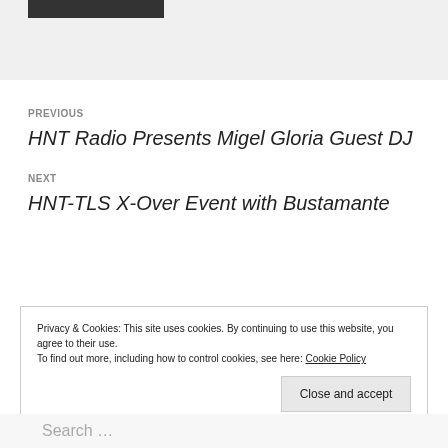[Figure (other): Dark navigation bar at top of page]
PREVIOUS
HNT Radio Presents Migel Gloria Guest DJ
NEXT
HNT-TLS X-Over Event with Bustamante
Privacy & Cookies: This site uses cookies. By continuing to use this website, you agree to their use.
To find out more, including how to control cookies, see here: Cookie Policy
Close and accept
Search …